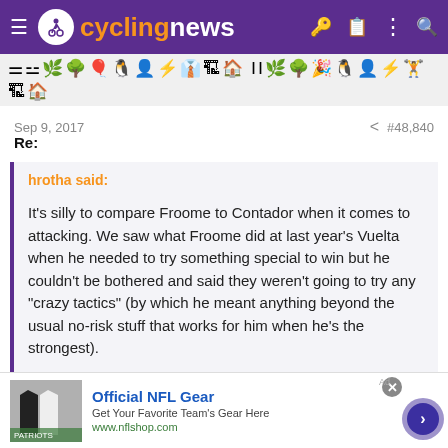cyclingnews
[Figure (screenshot): Toolbar with emoji/icon symbols for forum post formatting]
Sep 9, 2017   #48,840
Re:
hrotha said:
It's silly to compare Froome to Contador when it comes to attacking. We saw what Froome did at last year's Vuelta when he needed to try something special to win but he couldn't be bothered and said they weren't going to try any "crazy tactics" (by which he meant anything beyond the usual no-risk stuff that works for him when he's the strongest).
[Figure (screenshot): Advertisement banner: Official NFL Gear - Get Your Favorite Team's Gear Here - www.nflshop.com]